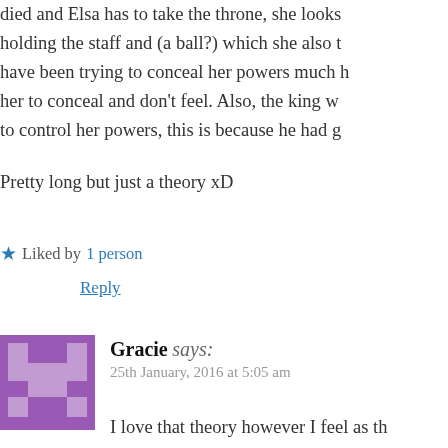died and Elsa has to take the throne, she looks holding the staff and (a ball?) which she also t have been trying to conceal her powers much h her to conceal and don't feel. Also, the king w to control her powers, this is because he had g
Pretty long but just a theory xD
★ Liked by 1 person
Reply
Gracie says:
25th January, 2016 at 5:05 am
I love that theory however I feel as th father could have helped teach her ho unfreeze things rather than having to me why Elsa is the only one with brig blonde hair, is a recessive trait. So if w